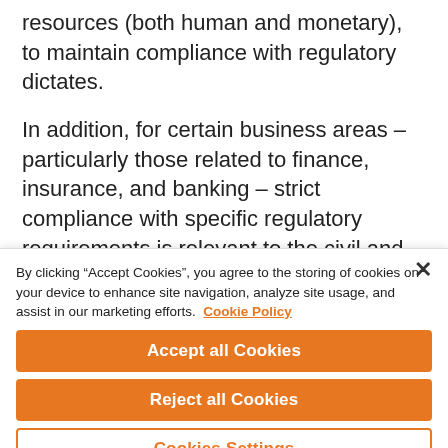resources (both human and monetary), to maintain compliance with regulatory dictates.
In addition, for certain business areas – particularly those related to finance, insurance, and banking – strict compliance with specific regulatory requirements is relevant to the civil and criminal liability of companies.
By clicking "Accept Cookies", you agree to the storing of cookies on your device to enhance site navigation, analyze site usage, and assist in our marketing efforts.  Cookie Policy
Accept all Cookies
Reject all Cookies
Cookies Settings